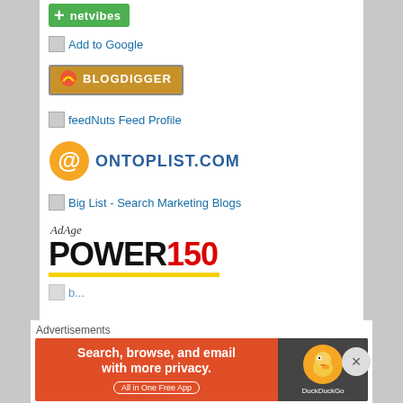[Figure (logo): Netvibes green plus button with 'netvibes' text]
Add to Google
BlogDigger badge
feedNuts Feed Profile
[Figure (logo): OnTopList.com orange @ symbol logo with ONTOPLIST.COM text]
Big List - Search Marketing Blogs
[Figure (logo): AdAge POWER150 badge with yellow underline]
Partial list item partially visible
Advertisements
[Figure (infographic): DuckDuckGo advertisement banner: Search, browse, and email with more privacy. All in One Free App]